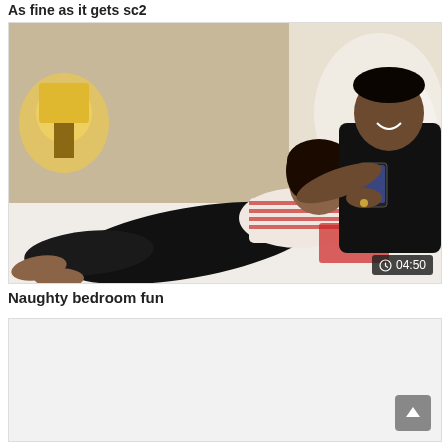As fine as it gets sc2
[Figure (photo): Two people lying on a bed. A woman in a striped shirt and black pants is lying against a man in a black t-shirt who is holding a phone. A lamp and nightstand are visible in the background.]
Naughty bedroom fun
[Figure (photo): Partially visible thumbnail of another video, showing a light gray/white area. A scroll-to-top button is visible in the bottom right corner.]